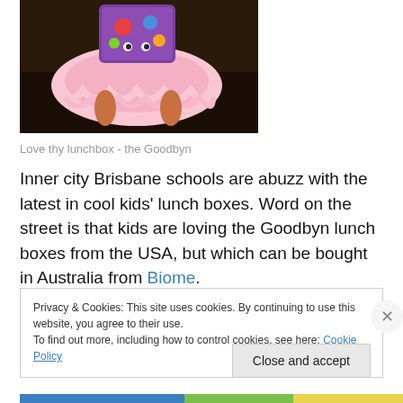[Figure (photo): A child in a pink tutu skirt holding a purple decorative lunch box, seen from behind, viewed from above.]
Love thy lunchbox - the Goodbyn
Inner city Brisbane schools are abuzz with the latest in cool kids' lunch boxes. Word on the street is that kids are loving the Goodbyn lunch boxes from the USA, but which can be bought in Australia from Biome.
Privacy & Cookies: This site uses cookies. By continuing to use this website, you agree to their use.
To find out more, including how to control cookies, see here: Cookie Policy